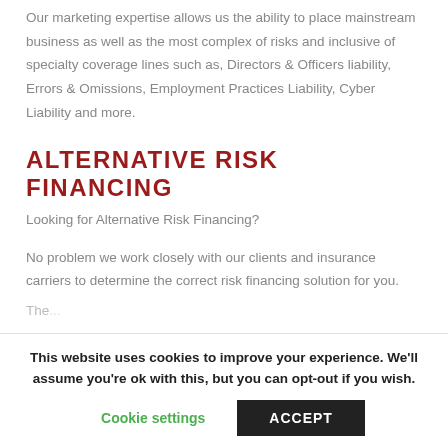Our marketing expertise allows us the ability to place mainstream business as well as the most complex of risks and inclusive of specialty coverage lines such as, Directors & Officers liability, Errors & Omissions, Employment Practices Liability, Cyber Liability and more.
ALTERNATIVE RISK FINANCING
Looking for Alternative Risk Financing?
No problem we work closely with our clients and insurance carriers to determine the correct risk financing solution for you.
The...
This website uses cookies to improve your experience. We'll assume you're ok with this, but you can opt-out if you wish.